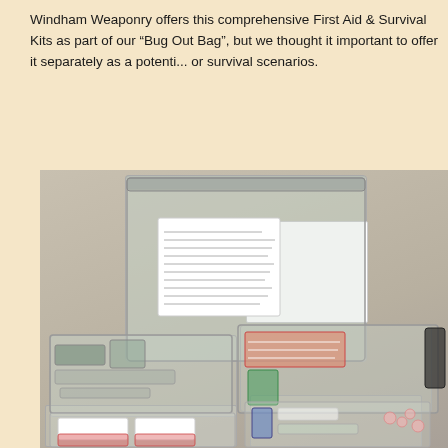Windham Weaponry offers this comprehensive First Aid & Survival Kit as part of our "Bug Out Bag", but we thought it important to offer it separately as a potential stand-alone option for first aid or survival scenarios.
[Figure (photo): Photo of a first aid and survival kit showing multiple clear plastic zip-lock bags containing various medical supplies, bandages, packets, and survival items laid out on a flat surface.]